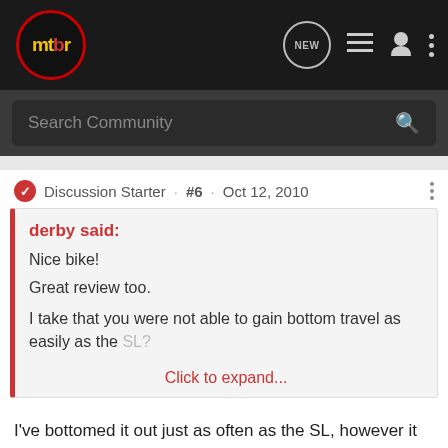[Figure (screenshot): MTBR forum website navigation bar with logo, NEW button, list icon, user icon, and more icon]
[Figure (screenshot): Search Community search bar]
Discussion Starter · #6 · Oct 12, 2010
derby said:
Nice bike!

Great review too.

I take that you were not able to gain bottom travel as easily as the SL?

Click to expand...
I've bottomed it out just as often as the SL, however it feels as if there is with way more re t barely
[Figure (advertisement): Cabela's Ascend Adventure Bikes 'SHOP NOW' advertisement banner]